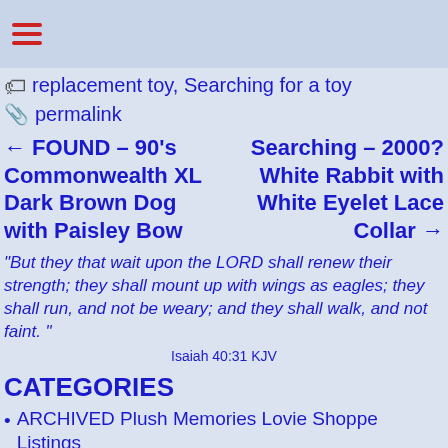≡ (menu icon)
replacement toy, Searching for a toy
permalink
← FOUND – 90's Commonwealth XL Dark Brown Dog with Paisley Bow
Searching – 2000? White Rabbit with White Eyelet Lace Collar →
“But they that wait upon the LORD shall renew their strength; they shall mount up with wings as eagles; they shall run, and not be weary; and they shall walk, and not faint.”
Isaiah 40:31 KJV
CATEGORIES
ARCHIVED Plush Memories Lovie Shoppe Listings